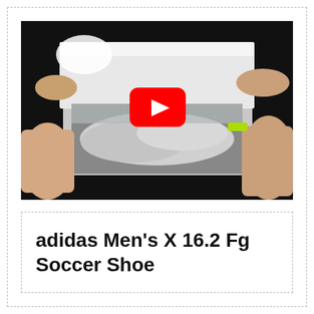[Figure (screenshot): YouTube video thumbnail showing an unboxing scene of a shoe box being opened, with hands lifting the lid to reveal tissue-wrapped contents inside. A red YouTube play button is overlaid in the center of the image.]
adidas Men's X 16.2 Fg Soccer Shoe